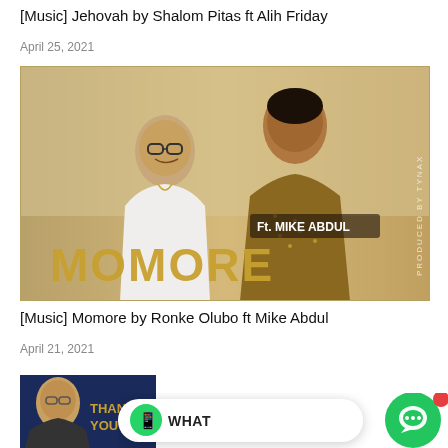[Music] Jehovah by Shalom Pitas ft Alih Friday
April 25, 2021
[Figure (photo): Album art for Momore by Ronke Olubo ft Mike Abdul. Shows two artists against a golden background with MOMORE text and Ft. Mike Abdul text, PRODUCED BY TYNAX watermark.]
[Music] Momore by Ronke Olubo ft Mike Abdul
April 21, 2021
[Figure (photo): Partial thumbnail of another music release showing THANK YOU text on blue background with a man in glasses.]
[Figure (screenshot): WhatsApp chat widget bar with green chat bubble icon and red notification dot.]